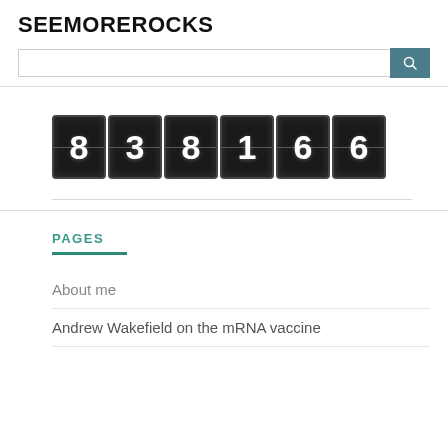SEEMOREROCKS
[Figure (screenshot): Search bar with teal search button]
[Figure (other): Odometer-style hit counter displaying 838166]
PAGES
About me
Andrew Wakefield on the mRNA vaccine